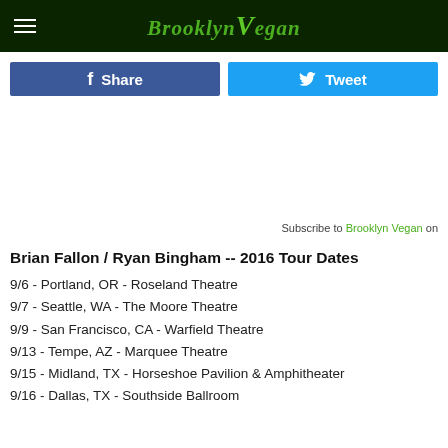Brooklyn Vegan
Share   Tweet
Subscribe to Brooklyn Vegan on
Brian Fallon / Ryan Bingham -- 2016 Tour Dates
9/6 - Portland, OR - Roseland Theatre
9/7 - Seattle, WA - The Moore Theatre
9/9 - San Francisco, CA - Warfield Theatre
9/13 - Tempe, AZ - Marquee Theatre
9/15 - Midland, TX - Horseshoe Pavilion & Amphitheater
9/16 - Dallas, TX - Southside Ballroom